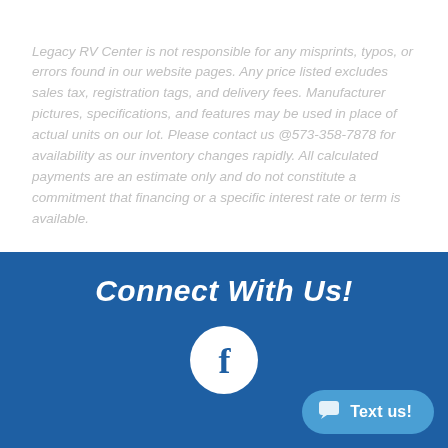Legacy RV Center is not responsible for any misprints, typos, or errors found in our website pages. Any price listed excludes sales tax, registration tags, and delivery fees. Manufacturer pictures, specifications, and features may be used in place of actual units on our lot. Please contact us @573-358-7878 for availability as our inventory changes rapidly. All calculated payments are an estimate only and do not constitute a commitment that financing or a specific interest rate or term is available.
Connect With Us!
[Figure (logo): Facebook logo — white circle with dark blue lowercase f]